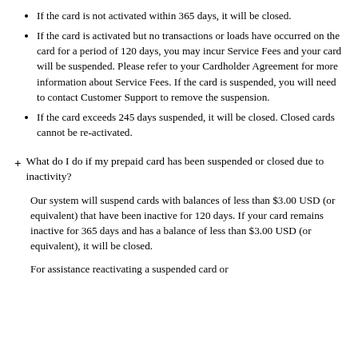If the card is not activated within 365 days, it will be closed.
If the card is activated but no transactions or loads have occurred on the card for a period of 120 days, you may incur Service Fees and your card will be suspended. Please refer to your Cardholder Agreement for more information about Service Fees. If the card is suspended, you will need to contact Customer Support to remove the suspension.
If the card exceeds 245 days suspended, it will be closed. Closed cards cannot be re-activated.
What do I do if my prepaid card has been suspended or closed due to inactivity?
Our system will suspend cards with balances of less than $3.00 USD (or equivalent) that have been inactive for 120 days. If your card remains inactive for 365 days and has a balance of less than $3.00 USD (or equivalent), it will be closed.
For assistance reactivating a suspended card or